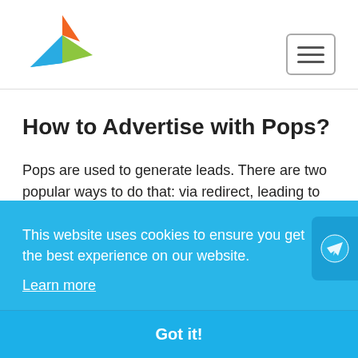[Figure (logo): Colorful bird/origami logo with orange, blue and green triangles]
[Figure (other): Hamburger menu icon button with three horizontal lines in a rounded rectangle border]
How to Advertise with Pops?
Pops are used to generate leads. There are two popular ways to do that: via redirect, leading to the advertiser's page with an offer, or via a pre-lander, a sort of a landing page with no form to
This website uses cookies to ensure you get the best experience on our website.
Learn more
Got it!